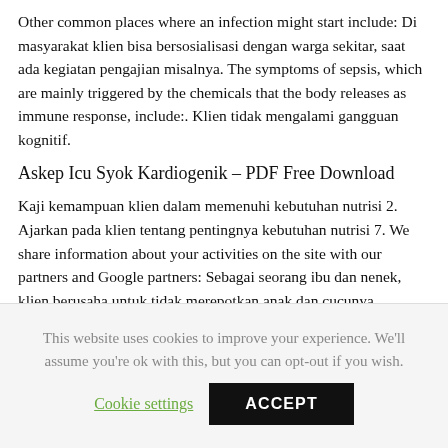Other common places where an infection might start include: Di masyarakat klien bisa bersosialisasi dengan warga sekitar, saat ada kegiatan pengajian misalnya. The symptoms of sepsis, which are mainly triggered by the chemicals that the body releases as immune response, include:. Klien tidak mengalami gangguan kognitif.
Askep Icu Syok Kardiogenik – PDF Free Download
Kaji kemampuan klien dalam memenuhi kebutuhan nutrisi 2. Ajarkan pada klien tentang pentingnya kebutuhan nutrisi 7. We share information about your activities on the site with our partners and Google partners: Sebagai seorang ibu dan nenek, klien berusaha untuk tidak merepotkan anak dan cucunya.
This website uses cookies to improve your experience. We'll assume you're ok with this, but you can opt-out if you wish.